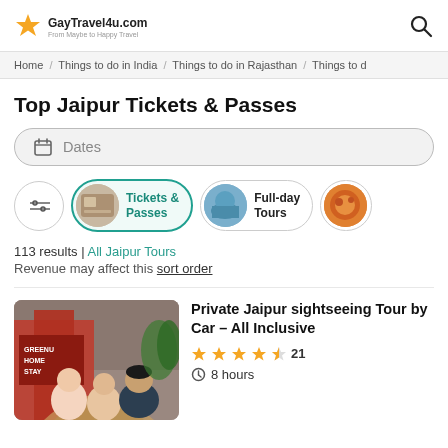GayTravel4u.com
Home / Things to do in India / Things to do in Rajasthan / Things to d
Top Jaipur Tickets & Passes
Dates
Tickets & Passes | Full-day Tours
113 results | All Jaipur Tours
Revenue may affect this sort order
[Figure (photo): Two women and a man posing in front of a building with a sign reading GREENU HOME STAY]
Private Jaipur sightseeing Tour by Car – All Inclusive
★★★★½ 21
⏱ 8 hours